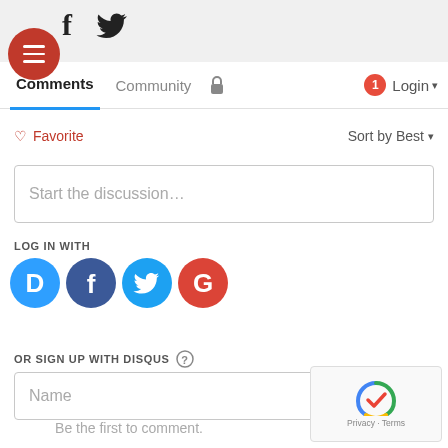[Figure (screenshot): Top bar with Facebook and Twitter social icons on gray background]
[Figure (logo): Red circular hamburger menu button with three white horizontal lines]
[Figure (screenshot): Disqus navigation bar with Comments (active, underlined blue), Community, lock icon, notification badge '1', and Login dropdown]
♡ Favorite
Sort by Best ▾
Start the discussion…
LOG IN WITH
[Figure (logo): Four social login icons: Disqus (D, blue circle), Facebook (f, dark blue circle), Twitter (bird, light blue circle), Google (G, red circle)]
OR SIGN UP WITH DISQUS ?
Name
Be the first to comment.
[Figure (logo): reCAPTCHA widget with Google logo and Privacy · Terms text]